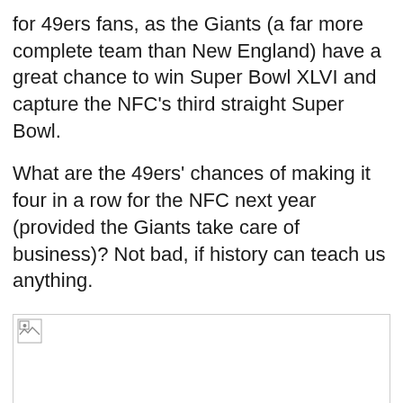for 49ers fans, as the Giants (a far more complete team than New England) have a great chance to win Super Bowl XLVI and capture the NFC's third straight Super Bowl.
What are the 49ers' chances of making it four in a row for the NFC next year (provided the Giants take care of business)? Not bad, if history can teach us anything.
[Figure (photo): Broken/missing image placeholder with a small broken image icon in the top-left corner, large white/empty area below.]
After seven previous NFC Championship Game losses, the 49ers made the playoffs the following season six times. The six times they made the playoffs the season after...